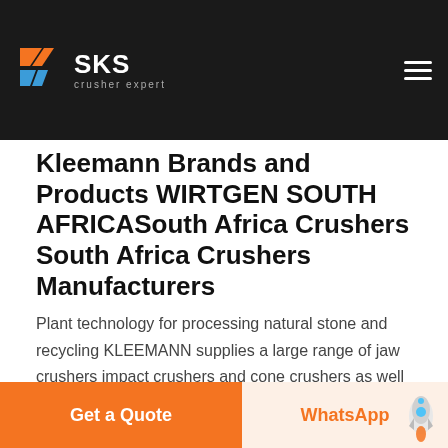SKS crusher expert
Kleemann Brands and Products WIRTGEN SOUTH AFRICASouth Africa Crushers South Africa Crushers Manufacturers
Plant technology for processing natural stone and recycling KLEEMANN supplies a large range of jaw crushers impact crushers and cone crushers as well as screening plants for processing mineral raw materials and recycling construction materialsA wide variety of crushers options are available to you There are 26 crushers suppliers mainly located in Africa The top supplying country is South Africa which supply 100 of crushers